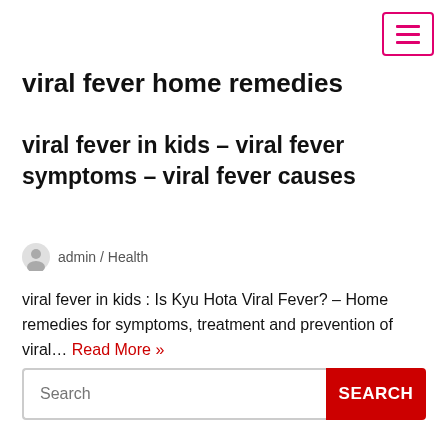viral fever home remedies
viral fever in kids – viral fever symptoms – viral fever causes
admin / Health
viral fever in kids : Is Kyu Hota Viral Fever? – Home remedies for symptoms, treatment and prevention of viral… Read More »